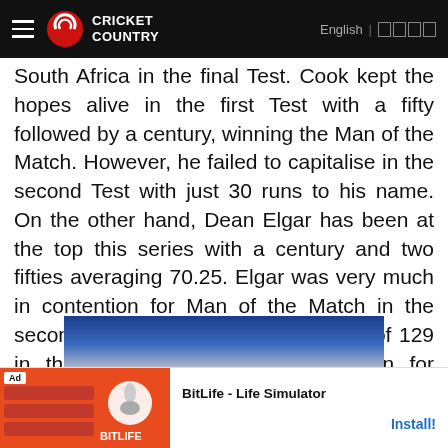Cricket Country | English
South Africa in the final Test. Cook kept the hopes alive in the first Test with a fifty followed by a century, winning the Man of the Match. However, he failed to capitalise in the second Test with just 30 runs to his name. On the other hand, Dean Elgar has been at the top this series with a century and two fifties averaging 70.25. Elgar was very much in contention for Man of the Match in the second Test for his career-best score of 129 in the first innings, had it not been for Rabada s brilliance once again.
[Figure (screenshot): Advertisement banner for BitLife - Life Simulator app with Install button]